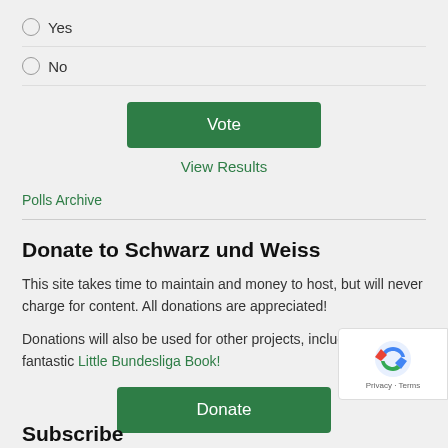Yes
No
Vote
View Results
Polls Archive
Donate to Schwarz und Weiss
This site takes time to maintain and money to host, but will never charge for content. All donations are appreciated!
Donations will also be used for other projects, including the fantastic Little Bundesliga Book!
Donate
Subscribe